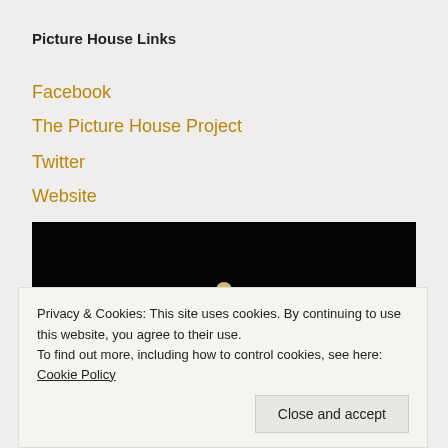Picture House Links
Facebook
The Picture House Project
Twitter
Website
[Figure (photo): Night-time photo of an ornate building facade with decorative architectural elements including a domed top and sculpted figures, illuminated against a dark sky]
Privacy & Cookies: This site uses cookies. By continuing to use this website, you agree to their use.
To find out more, including how to control cookies, see here: Cookie Policy
Close and accept